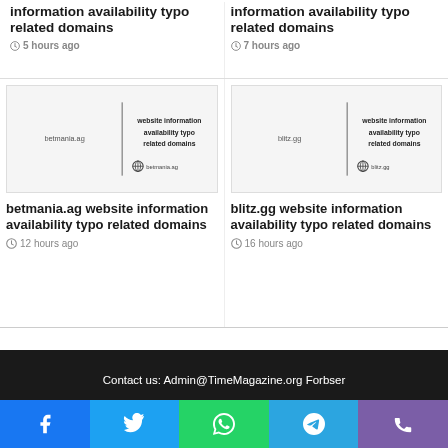information availability typo related domains
5 hours ago
information availability typo related domains
7 hours ago
[Figure (screenshot): Thumbnail for betmania.ag website information availability typo related domains article]
betmania.ag website information availability typo related domains
12 hours ago
[Figure (screenshot): Thumbnail for blitz.gg website information availability typo related domains article]
blitz.gg website information availability typo related domains
16 hours ago
Contact us: Admin@TimeMagazine.org Forbser